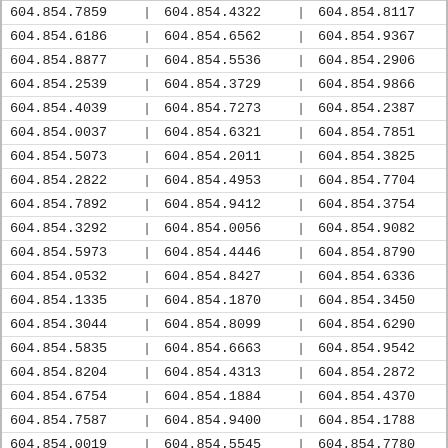| 604.854.7859 | | | 604.854.4322 | | | 604.854.8117 | | |
| 604.854.6186 | | | 604.854.6562 | | | 604.854.9367 | | |
| 604.854.8877 | | | 604.854.5536 | | | 604.854.2906 | | |
| 604.854.2539 | | | 604.854.3729 | | | 604.854.9866 | | |
| 604.854.4039 | | | 604.854.7273 | | | 604.854.2387 | | |
| 604.854.0037 | | | 604.854.6321 | | | 604.854.7851 | | |
| 604.854.5073 | | | 604.854.2011 | | | 604.854.3825 | | |
| 604.854.2822 | | | 604.854.4953 | | | 604.854.7704 | | |
| 604.854.7892 | | | 604.854.9412 | | | 604.854.3754 | | |
| 604.854.3292 | | | 604.854.0056 | | | 604.854.9082 | | |
| 604.854.5973 | | | 604.854.4446 | | | 604.854.8790 | | |
| 604.854.0532 | | | 604.854.8427 | | | 604.854.6336 | | |
| 604.854.1335 | | | 604.854.1870 | | | 604.854.3450 | | |
| 604.854.3044 | | | 604.854.8099 | | | 604.854.6290 | | |
| 604.854.5835 | | | 604.854.6663 | | | 604.854.9542 | | |
| 604.854.8204 | | | 604.854.4313 | | | 604.854.2872 | | |
| 604.854.6754 | | | 604.854.1884 | | | 604.854.4370 | | |
| 604.854.7587 | | | 604.854.9400 | | | 604.854.1788 | | |
| 604.854.0019 | | | 604.854.5545 | | | 604.854.7780 | | |